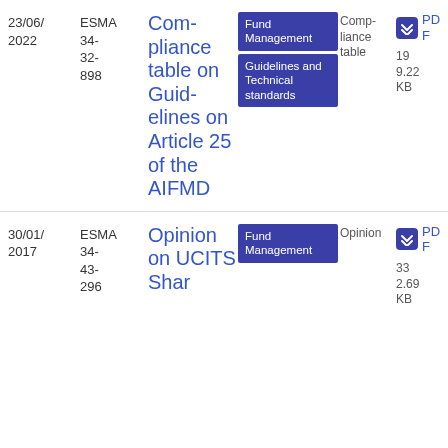| Date | Reference | Title | Tags | Type | Download |
| --- | --- | --- | --- | --- | --- |
| 23/06/2022 | ESMA 34-32-898 | Compliance table on Guidelines on Article 25 of the AIFMD | Fund Management; Guidelines and Technical standards | Compliance table | PDF 199.22 KB |
| 30/01/2017 | ESMA 34-43-296 | Opinion on UCITS Shar... | Fund Management | Opinion | PDF 332.69 KB |